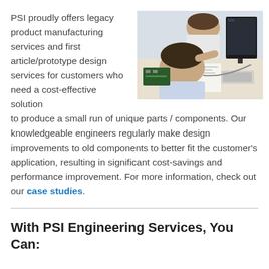PSI proudly offers legacy product manufacturing services and first article/prototype design services for customers who need a cost-effective solution to produce a small run of unique parts / components. Our knowledgeable engineers regularly make design improvements to old components to better fit the customer's application, resulting in significant cost-savings and performance improvement. For more information, check out our case studies.
[Figure (photo): Overhead view of two engineers or designers working together at a desk with a computer monitor, papers, and electronics components.]
With PSI Engineering Services, You Can: